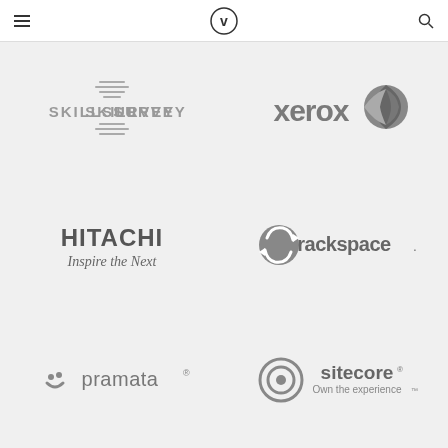Navigation header with hamburger menu, V logo, and search icon
[Figure (logo): SkillSurvey logo in gray]
[Figure (logo): Xerox logo in gray with ball graphic]
[Figure (logo): Hitachi Inspire the Next logo in dark gray]
[Figure (logo): Rackspace logo in gray with circular arrow icon]
[Figure (logo): pramata logo in gray with smile icon and registered mark]
[Figure (logo): sitecore Own the experience logo in gray with circular icon]